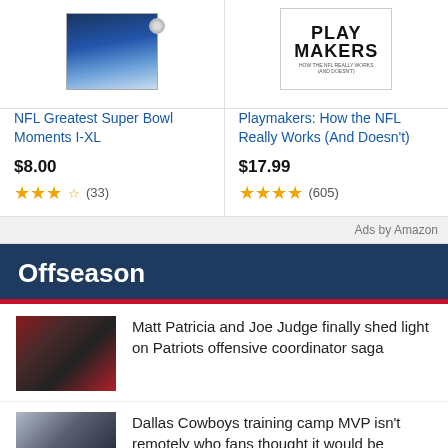[Figure (photo): Product image: NFL Greatest Super Bowl Moments I-XL DVD cover with player figure]
NFL Greatest Super Bowl Moments I-XL
$8.00
★★★★ (33)
[Figure (photo): Product image: Playmakers: How the NFL Really Works book cover]
Playmakers: How the NFL Really Works (And Doesn't)
$17.99
★★★★ (605)
Ads by Amazon
Offseason
[Figure (photo): Thumbnail photo of Matt Patricia (Patriots coach) looking down on sideline]
Matt Patricia and Joe Judge finally shed light on Patriots offensive coordinator saga
[Figure (photo): Thumbnail photo of Dallas Cowboys player at training camp]
Dallas Cowboys training camp MVP isn't remotely who fans thought it would be